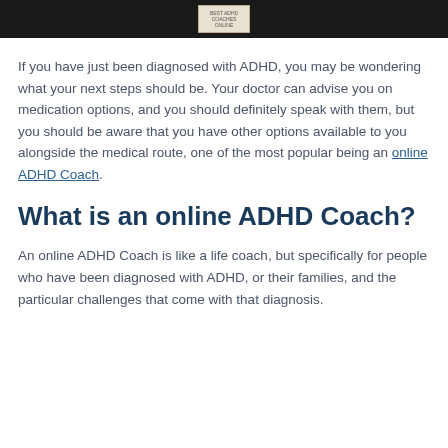[Figure (photo): Dark background image strip with a small label or tag visible in the center top area]
If you have just been diagnosed with ADHD, you may be wondering what your next steps should be. Your doctor can advise you on medication options, and you should definitely speak with them, but you should be aware that you have other options available to you alongside the medical route, one of the most popular being an online ADHD Coach.
What is an online ADHD Coach?
An online ADHD Coach is like a life coach, but specifically for people who have been diagnosed with ADHD, or their families, and the particular challenges that come with that diagnosis.